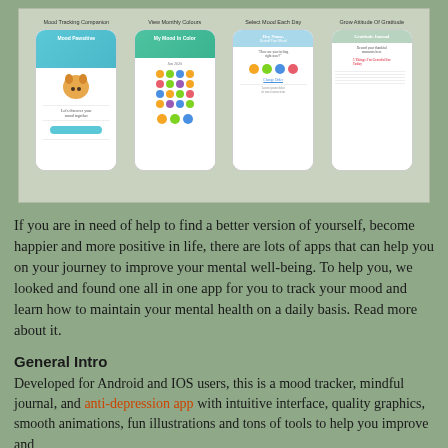[Figure (screenshot): Four smartphone app screenshots side by side showing: 'Mood Tracking Companion' with a character and mood tracking screen, 'View Monthly Colours' with a calendar/mood color grid, 'Select Mood Each Day' with mood emoji selection, and 'Grow Attitude Of Gratitude' with a gratitude journal interface.]
If you are in need of help to find a better version of yourself, become happier and more positive in life, there are lots of apps that can help you on your journey to improve your mental well-being. To help you, we looked and found one all in one app for you to track your mood and learn how to maintain your mental health on a daily basis. Read more about it.
General Intro
Developed for Android and IOS users, this is a mood tracker, mindful journal, and anti-depression app with intuitive interface, quality graphics, smooth animations, fun illustrations and tons of tools to help you improve and